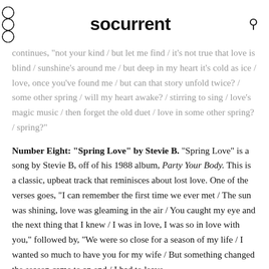socurrent
continues, "not your kind / but let me find / it's not true that love is blind / sunshine's around me / but deep in my heart it's cold as ice / love, once you've found me / but can that story unfold twice? / some other spring / will my heart awake? / stirring to sing / love's magic music / then forget the old duet / love in some other spring? / spring?"
Number Eight: "Spring Love" by Stevie B. "Spring Love" is a song by Stevie B, off of his 1988 album, Party Your Body. This is a classic, upbeat track that reminisces about lost love. One of the verses goes, "I can remember the first time we ever met / The sun was shining, love was gleaming in the air / You caught my eye and the next thing that I knew / I was in love, I was so in love with you," followed by, "We were so close for a season of my life / I wanted so much to have you for my wife / But something changed the season came to an end / I had to leave you and then leave my best friend." The...